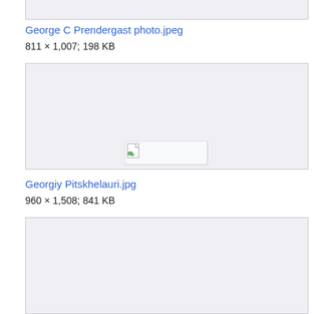[Figure (other): Truncated image box at top of page (continuation from previous page)]
George C Prendergast photo.jpeg
811 × 1,007; 198 KB
[Figure (other): Broken/unloaded image placeholder for George C Prendergast photo.jpeg]
Georgiy Pitskhelauri.jpg
960 × 1,508; 841 KB
[Figure (other): Broken/unloaded image placeholder for Georgiy Pitskhelauri.jpg]